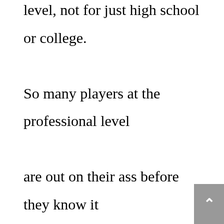level, not for just high school or college. So many players at the professional level are out on their ass before they know it because they didn't get better. Sometimes it was that the player wasn't good enough or had attitude issues, but some of the blame could have been for the reason that their coaches didn't explain to them what mistakes were made and how to correct them. It is not always the coach's fault, the